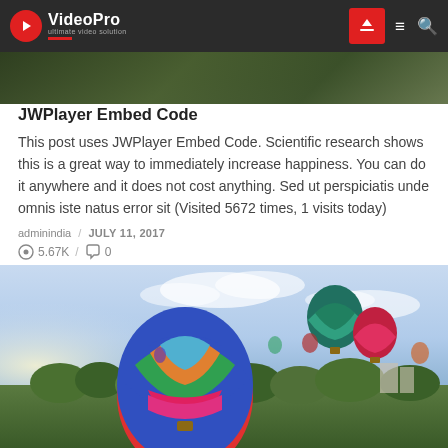[Figure (screenshot): VideoPro website navigation bar with logo, upload button, hamburger menu, and search icon on dark background]
[Figure (photo): Partial top image strip showing outdoor scenic view]
JWPlayer Embed Code
This post uses JWPlayer Embed Code. Scientific research shows this is a great way to immediately increase happiness. You can do it anywhere and it does not cost anything. Sed ut perspiciatis unde omnis iste natus error sit (Visited 5672 times, 1 visits today)
adminindia  /  JULY 11, 2017
5.67K  /  0
[Figure (photo): Hot air balloons over a city skyline with trees and buildings, colorful balloons in foreground and background against a blue sky]